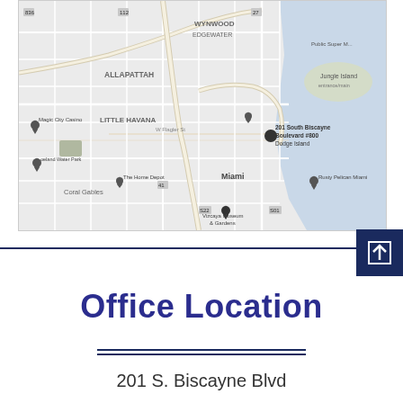[Figure (map): Google Maps screenshot showing Miami area including neighborhoods: Wynwood, Edgewater, Allapattah, Little Havana, Coral Gables, Coconut Grove area. A pin is placed at 201 South Biscayne Boulevard #800, Dodge Island. Landmarks visible include Jungle Island, Magic City Casino, The Home Depot, Vizcaya Museum & Gardens, Rusty Pelican Miami, Public Super Market. Map is grayscale.]
Office Location
201 S. Biscayne Blvd